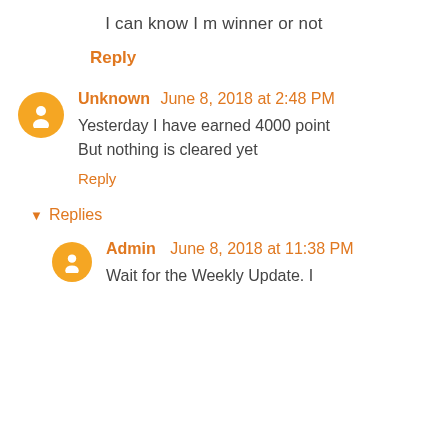I can know I m winner or not
Reply
Unknown June 8, 2018 at 2:48 PM
Yesterday I have earned 4000 point
But nothing is cleared yet
Reply
Replies
Admin June 8, 2018 at 11:38 PM
Wait for the Weekly Update. I